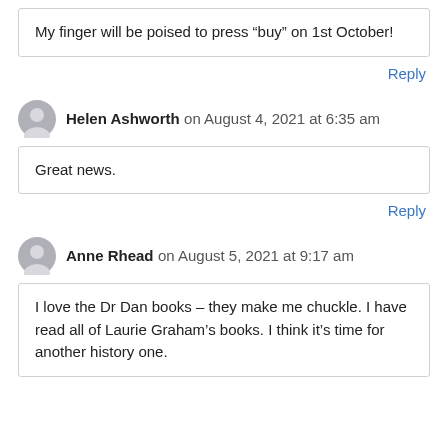My finger will be poised to press “buy” on 1st October!
Reply
Helen Ashworth on August 4, 2021 at 6:35 am
Great news.
Reply
Anne Rhead on August 5, 2021 at 9:17 am
I love the Dr Dan books – they make me chuckle. I have read all of Laurie Graham’s books. I think it’s time for another history one.